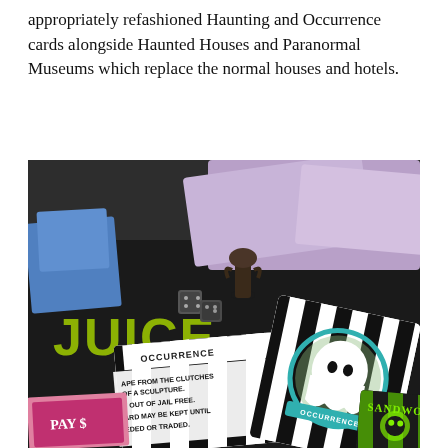appropriately refashioned Haunting and Occurrence cards alongside Haunted Houses and Paranormal Museums which replace the normal houses and hotels.
[Figure (photo): Close-up photo of a Beetlejuice-themed Monopoly board game showing game pieces (small dark figurines and dice), colorful cards including an 'OCCURRENCE' card with black and white stripes and a ghost illustration, a 'SANDWORM' card with green stripes, and a 'PAY' card with pink and dark coloring. The board shows yellow-green 'JUICE' text lettering.]